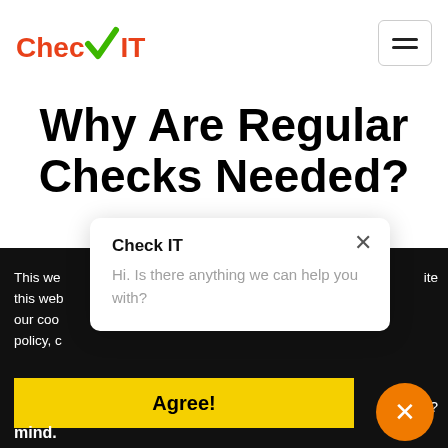[Figure (logo): Check-IT logo with orange-red text and green checkmark]
[Figure (other): Hamburger menu button (three horizontal lines) in a rounded rectangle border]
Why Are Regular Checks Needed?
This we... this web... our coo... policy, c... out it?
[Figure (screenshot): Chat popup widget from Check IT saying 'Hi. Is there anything we can help you with?' with a close X button]
Agree!
mind.